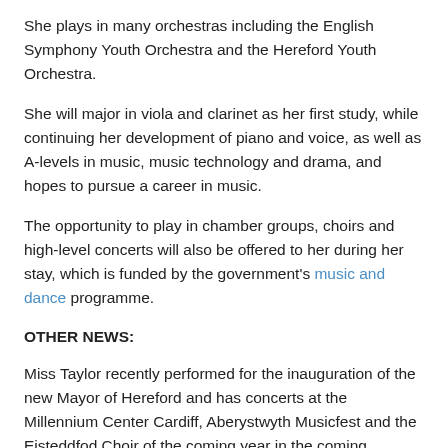She plays in many orchestras including the English Symphony Youth Orchestra and the Hereford Youth Orchestra.
She will major in viola and clarinet as her first study, while continuing her development of piano and voice, as well as A-levels in music, music technology and drama, and hopes to pursue a career in music.
The opportunity to play in chamber groups, choirs and high-level concerts will also be offered to her during her stay, which is funded by the government's music and dance programme.
OTHER NEWS:
Miss Taylor recently performed for the inauguration of the new Mayor of Hereford and has concerts at the Millennium Center Cardiff, Aberystwyth Musicfest and the Eisteddfod Choir of the coming year in the coming months.
“Thank you to everyone who has inspired and supported me in my musical career thus far,” said Miss Taylor.